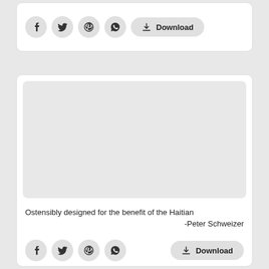[Figure (screenshot): Top card with social share icons (Facebook, Twitter, Pinterest, WhatsApp) and a Download button]
[Figure (screenshot): Bottom card with a gray placeholder image area, quote text, attribution, social share icons, and a Download button]
Ostensibly designed for the benefit of the Haitian
-Peter Schweizer